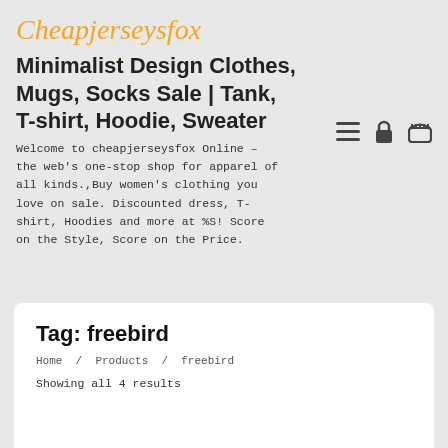[Figure (logo): Cheapjerseysfox logo in orange italic script font]
Minimalist Design Clothes, Mugs, Socks Sale | Tank, T-shirt, Hoodie, Sweater
Welcome to cheapjerseysfox Online – the web's one-stop shop for apparel of all kinds.,Buy women's clothing you love on sale. Discounted dress, T-shirt, Hoodies and more at %S! Score on the Style, Score on the Price.
[Figure (illustration): Navigation icons: hamburger menu, lock/login, shopping basket]
Tag: freebird
Home / Products / freebird
Showing all 4 results